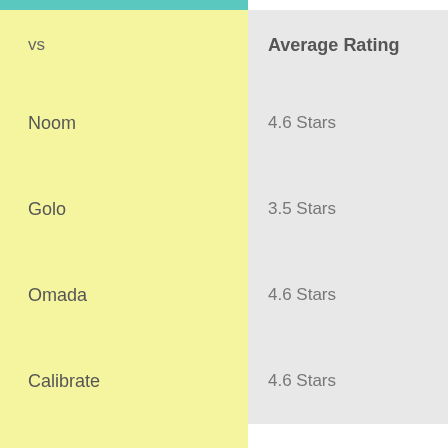| vs | Average Rating |
| --- | --- |
| Noom | 4.6 Stars |
| Golo | 3.5 Stars |
| Omada | 4.6 Stars |
| Calibrate | 4.6 Stars |
vs   Access to Coach